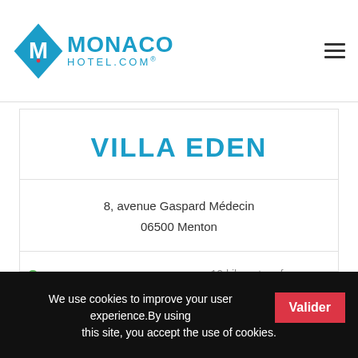MONACO HOTEL.COM
VILLA EDEN
8, avenue Gaspard Médecin
06500 Menton
2 rooms
10 kilometers from Monaco
We use cookies to improve your user experience.By using this site, you accept the use of cookies.